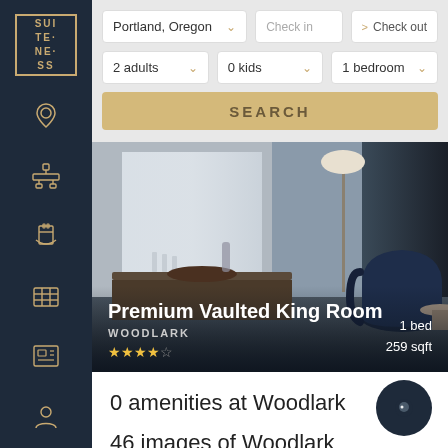[Figure (screenshot): Suiteness hotel booking app sidebar with logo and navigation icons on dark navy background]
Portland, Oregon
Check in  > Check out
2 adults
0 kids
1 bedroom
SEARCH
[Figure (photo): Luxury hotel room with dark navy armchair, marble table, floor lamp, and sheer white curtains]
Premium Vaulted King Room
WOODLARK
★★★★☆
1 bed
259 sqft
0 amenities at Woodlark
46 images of Woodlark